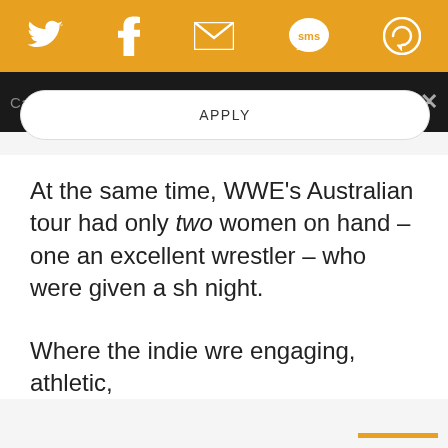[Figure (screenshot): Orange top navigation bar with social media icons: Twitter bird, Facebook f, envelope (email), SMS speech bubble, and a circular arrow icon, all in white on orange background.]
Call for Music Writers
APPLY
At the same time, WWE's Australian tour had only two women on hand – one an excellent wrestler – who were given a sh[ort match] night.
Where the indie wre[stling was] engaging, athletic, [and...]